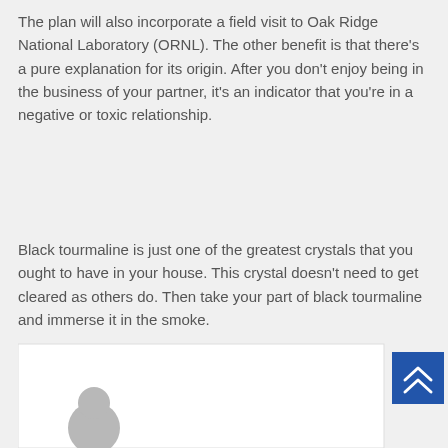The plan will also incorporate a field visit to Oak Ridge National Laboratory (ORNL). The other benefit is that there's a pure explanation for its origin. After you don't enjoy being in the business of your partner, it's an indicator that you're in a negative or toxic relationship.
Black tourmaline is just one of the greatest crystals that you ought to have in your house. This crystal doesn't need to get cleared as others do. Then take your part of black tourmaline and immerse it in the smoke.
[Figure (other): White content box at bottom of page with a circular avatar placeholder (grey) and a blue scroll-to-top button with double chevron arrows on the right]